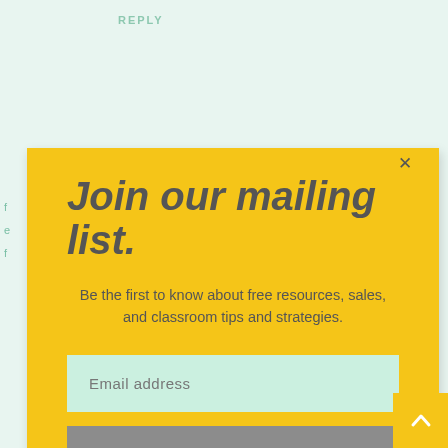REPLY
Join our mailing list.
Be the first to know about free resources, sales, and classroom tips and strategies.
Email address
Subscribe